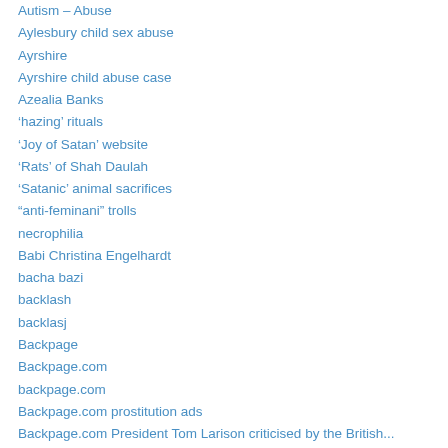Autism – Abuse
Aylesbury child sex abuse
Ayrshire
Ayrshire child abuse case
Azealia Banks
‘hazing’ rituals
‘Joy of Satan’ website
‘Rats’ of Shah Daulah
‘Satanic’ animal sacrifices
“anti-feminani” trolls
necrophilia
Babi Christina Engelhardt
bacha bazi
backlash
backlasj
Backpage
Backpage.com
backpage.com
Backpage.com prostitution ads
Backpage.com President Tom Larison criticised by the British...